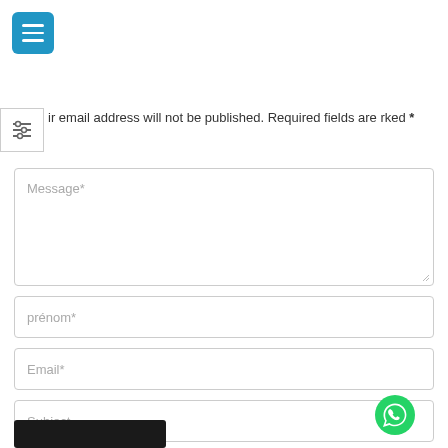[Figure (screenshot): Blue hamburger menu button icon (three white horizontal lines on blue rounded square background)]
[Figure (screenshot): Filter/sliders icon (three horizontal lines with small circles, indicating filter controls)]
ir email address will not be published. Required fields are rked *
Message*
prénom*
Email*
Subject
[Figure (logo): WhatsApp green circular button icon]
[Figure (screenshot): Black submit button (partially visible at bottom)]